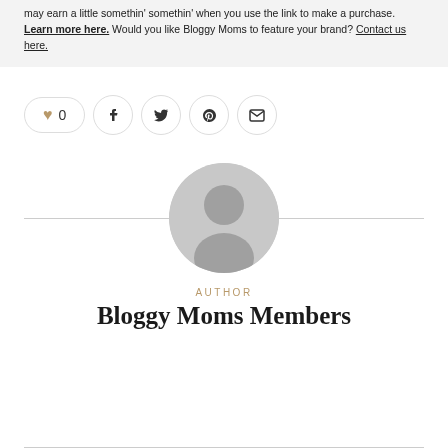may earn a little somethin' somethin' when you use the link to make a purchase. Learn more here. Would you like Bloggy Moms to feature your brand? Contact us here.
[Figure (infographic): Social sharing button row: heart/like button with count 0, Facebook, Twitter, Pinterest, and email icon buttons]
[Figure (illustration): Generic grey user avatar circle placeholder image]
AUTHOR
Bloggy Moms Members